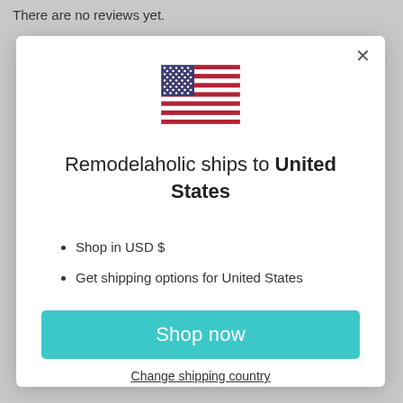There are no reviews yet.
[Figure (illustration): US flag icon centered in modal dialog]
Remodelaholic ships to United States
Shop in USD $
Get shipping options for United States
Shop now
Change shipping country